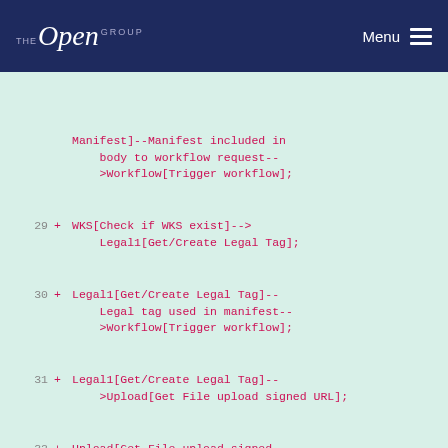THE Open GROUP | Menu
Manifest]--Manifest included in body to workflow request-->Workflow[Trigger workflow];
29 + WKS[Check if WKS exist]-->Legal1[Get/Create Legal Tag];
30 + Legal1[Get/Create Legal Tag]--Legal tag used in manifest-->Workflow[Trigger workflow];
31 + Legal1[Get/Create Legal Tag]-->Upload[Get File upload signed URL];
32 + Upload[Get File upload signed URL]--Filesource populated in Manifest-->Workflow;
33 + Upload[Get File upload signed URL]-->Upload2[Upload LAS file];
34 + Upload2-->Workflow[Trigger workflow];
35 + Workflow-->Check[Check DAG status];
36 + Check-->Search[Check ingested